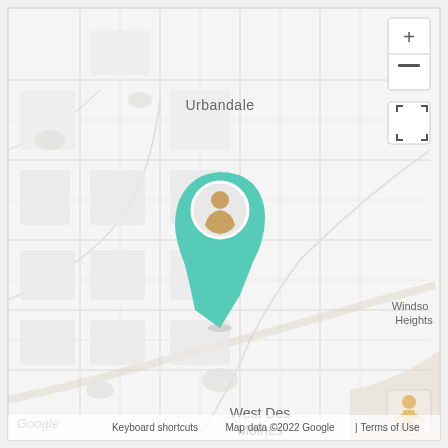[Figure (map): Google Map screenshot showing Urbandale, Windsor Heights, and West Des Moines area in Iowa. A teal map pin with a person avatar is placed in the center-left area (Des Moines/West Des Moines border region). Map controls (zoom +/-, fullscreen) visible on upper right. Google Street View pegman icon in lower right. Google branding and attribution in lower left. Grid-like road network visible throughout.]